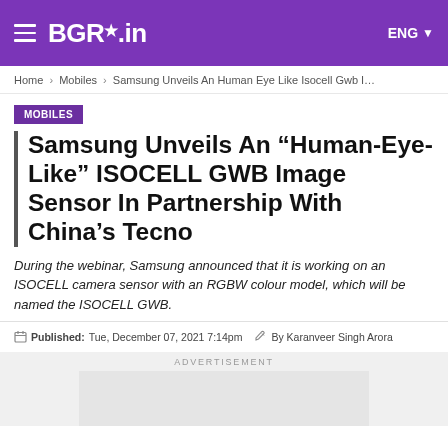BGR.in — ENG
Home > Mobiles > Samsung Unveils An Human Eye Like Isocell Gwb I...
MOBILES
Samsung Unveils An “Human-Eye-Like” ISOCELL GWB Image Sensor In Partnership With China’s Tecno
During the webinar, Samsung announced that it is working on an ISOCELL camera sensor with an RGBW colour model, which will be named the ISOCELL GWB.
Published:Tue, December 07, 2021 7:14pm   By Karanveer Singh Arora
ADVERTISEMENT